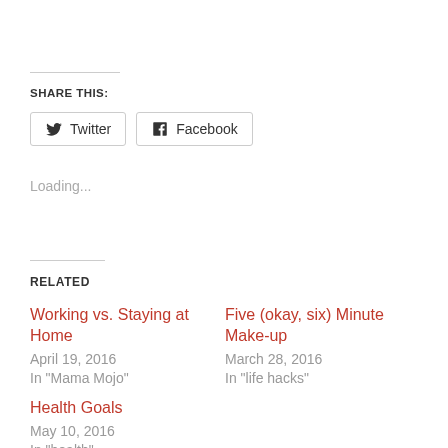SHARE THIS:
[Figure (other): Share buttons for Twitter and Facebook]
Loading...
RELATED
Working vs. Staying at Home
April 19, 2016
In "Mama Mojo"
Five (okay, six) Minute Make-up
March 28, 2016
In "life hacks"
Health Goals
May 10, 2016
In "health"